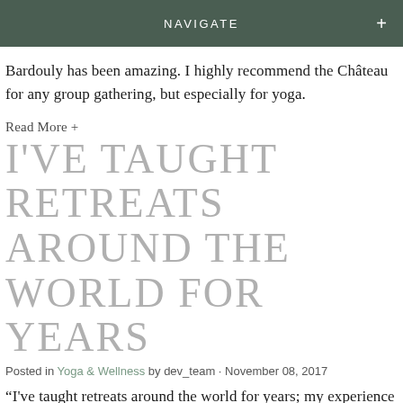NAVIGATE
Bardouly has been amazing. I highly recommend the Château for any group gathering, but especially for yoga.
Read More +
I'VE TAUGHT RETREATS AROUND THE WORLD FOR YEARS
Posted in Yoga & Wellness by dev_team • November 08, 2017
“I've taught retreats around the world for years; my experience at bardouly was perfection. Luxurious accommodation, idyllic grounds, perfect indoor/outdoor yoga spaces. Lisa and jc are charming hosts and the food